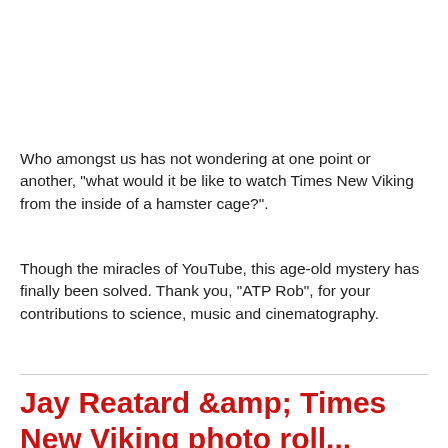Who amongst us has not wondering at one point or another, "what would it be like to watch Times New Viking from the inside of a hamster cage?".
Though the miracles of YouTube, this age-old mystery has finally been solved. Thank you, "ATP Rob", for your contributions to science, music and cinematography.
Jay Reatard &amp; Times New Viking photo roll...
MAY 16TH, 2008 AT 6:55 AM
The Judge has already penned a candid account of the Jay...